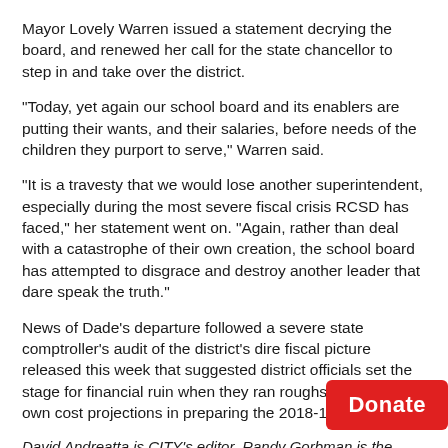Mayor Lovely Warren issued a statement decrying the board, and renewed her call for the state chancellor to step in and take over the district.
"Today, yet again our school board and its enablers are putting their wants, and their salaries, before needs of the children they purport to serve," Warren said.
"It is a travesty that we would lose another superintendent, especially during the most severe fiscal crisis RCSD has faced," her statement went on. "Again, rather than deal with a catastrophe of their own creation, the school board has attempted to disgrace and destroy another leader that dare speak the truth."
News of Dade's departure followed a severe state comptroller's audit of the district's dire fiscal picture released this week that suggested district officials set the stage for financial ruin when they ran roughshod over their own cost projections in preparing the 2018-19 budget.
David Andreatta is CITY's editor. Randy Gorbman is the news director at WXXI News, a media partner of CITY. Andreatta can be reached at dandreatta@rochester-citynews.com and Gorbman can be reached at...